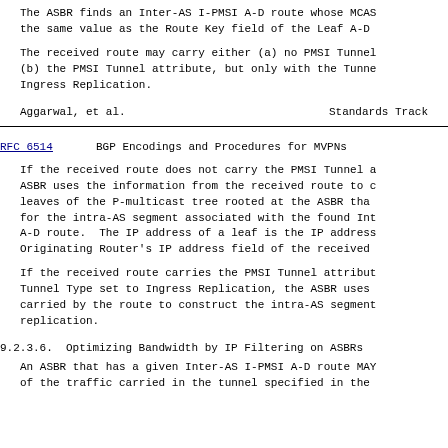The ASBR finds an Inter-AS I-PMSI A-D route whose MCAS the same value as the Route Key field of the Leaf A-D
The received route may carry either (a) no PMSI Tunnel (b) the PMSI Tunnel attribute, but only with the Tunnel Ingress Replication.
Aggarwal, et al.                    Standards Track
RFC 6514          BGP Encodings and Procedures for MVPNs
If the received route does not carry the PMSI Tunnel a ASBR uses the information from the received route to c leaves of the P-multicast tree rooted at the ASBR tha for the intra-AS segment associated with the found Int A-D route.  The IP address of a leaf is the IP address Originating Router's IP address field of the received
If the received route carries the PMSI Tunnel attribut Tunnel Type set to Ingress Replication, the ASBR uses carried by the route to construct the intra-AS segment replication.
9.2.3.6.  Optimizing Bandwidth by IP Filtering on ASBRs
An ASBR that has a given Inter-AS I-PMSI A-D route MAY of the traffic carried in the tunnel specified in the